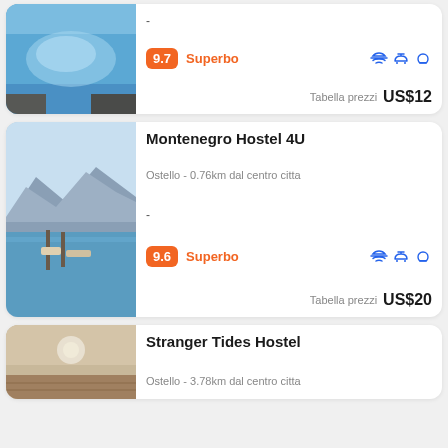[Figure (photo): Swimming pool with blue water, partial card top]
-
9.7 Superbo
Tabella prezzi US$12
Montenegro Hostel 4U
Ostello - 0.76km dal centro citta
-
9.6 Superbo
Tabella prezzi US$20
Stranger Tides Hostel
Ostello - 3.78km dal centro citta